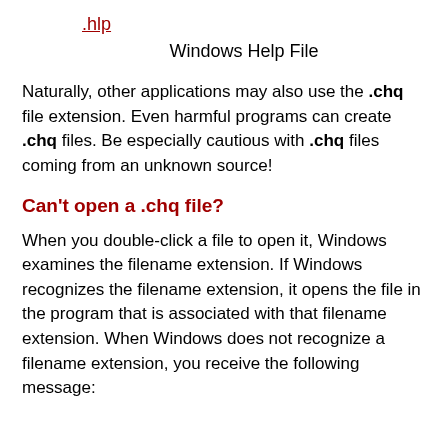.hlp
Windows Help File
Naturally, other applications may also use the .chq file extension. Even harmful programs can create .chq files. Be especially cautious with .chq files coming from an unknown source!
Can't open a .chq file?
When you double-click a file to open it, Windows examines the filename extension. If Windows recognizes the filename extension, it opens the file in the program that is associated with that filename extension. When Windows does not recognize a filename extension, you receive the following message: